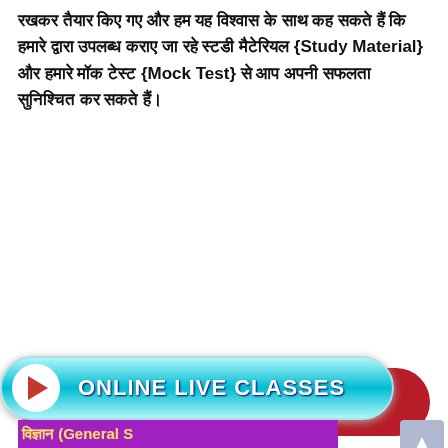रखकर तैयार किए गए और हम यह विश्वास के साथ कह सकते हैं कि हमारे द्वारा उपलब्ध कराए जा रहे स्टडी मैटेरियल {Study Material} और हमारे मॉक टेस्ट {Mock Test} से आप अपनी सफलता सुनिश्चित कर सकते हैं।
[Figure (infographic): Three red pill-shaped buttons with Hindi text labels and one 'ONLINE LIVE CLASSES' banner button with play icon on cyan gradient background]
[Figure (infographic): Partially visible purple banner with yellow Hindi text 'विज्ञान (General S' and subtitle 'महत्वपूर्ण प्रश्न संकल' and large blue text 'st Mock T', with a fire emoji button and scroll-to-top button]